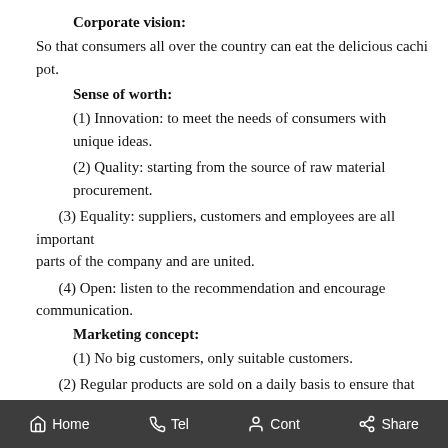Corporate vision:
So that consumers all over the country can eat the delicious cachipot.
Sense of worth:
(1) Innovation: to meet the needs of consumers with unique ideas.
(2) Quality: starting from the source of raw material procurement.
(3) Equality: suppliers, customers and employees are all important parts of the company and are united.
(4) Open: listen to the recommendation and encourage communication.
Marketing concept:
(1) No big customers, only suitable customers.
(2) Regular products are sold on a daily basis to ensure that the shelves are delivered in the same month every month.
Home  Tel  Cont  Share